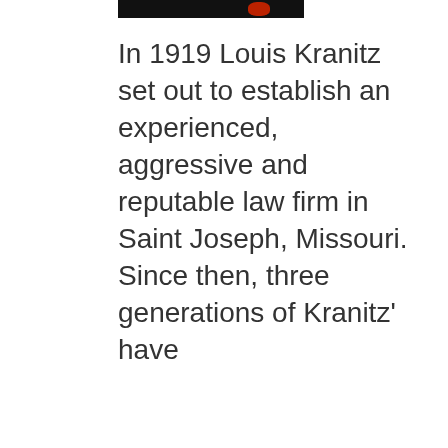[Figure (photo): Partial photograph showing a dark background with a red accent element, cropped at the top of the page.]
In 1919 Louis Kranitz set out to establish an experienced, aggressive and reputable law firm in Saint Joseph, Missouri. Since then, three generations of Kranitz' have